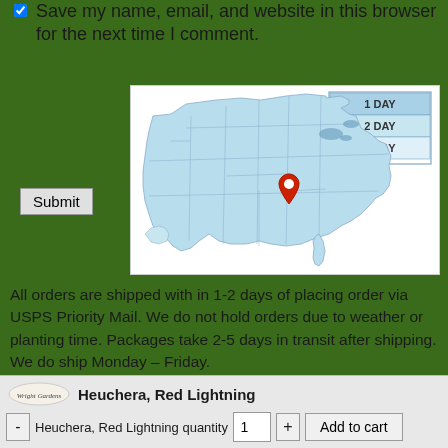Save my name, email, and website in this browser for the next time I comment.
[Figure (map): USPS Priority Mail shipping map of the contiguous United States showing 1 DAY, 2 DAY, and 3 DAY shipping zones from a central origin point (marked with a red pin in the southern US). States are shaded in light blue with regional zone boundaries indicated.]
All orders are shipped with in 1-2 days of placing order via USPS Priority Mail. We do not hold orders due to weather or planting time. Packages take 2-5 days in transit after shipping. We do ship Monday – Friday.
Free Shipping is only available to customers in areas within the contiguous US. For orders to Alaska & Hawaii, shipping charges will be added based on weight of total order.
Heuchera, Red Lightning
Heuchera, Red Lightning quantity 1 Add to cart